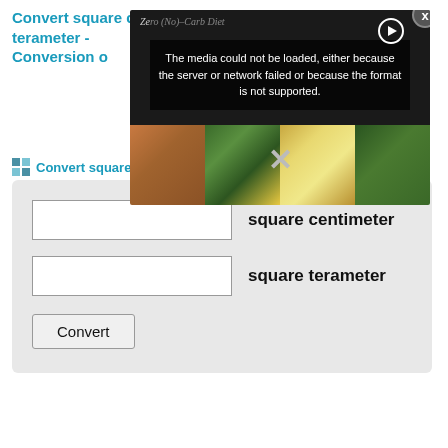Convert square centimeter to square terameter - Conversion o
[Figure (screenshot): Video overlay showing a media error message 'The media could not be loaded, either because the server or network failed or because the format is not supported.' with a dark background food image showing keto diet items (meat, avocado, egg, greens), a close button (x), a play button circle, and an X symbol. Title text shows 'Zero (No)-Carb Diet']
Convert square
square centimeter
square terameter
Convert